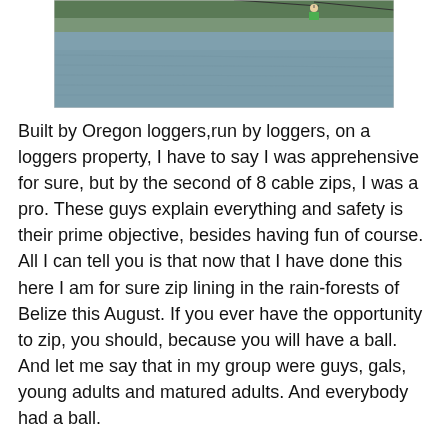[Figure (photo): Photo of a person zip-lining over a lake or pond. The water surface is visible below with trees in the background. The person appears to be in the air on a cable zip line.]
Built by Oregon loggers,run by loggers, on a loggers property, I have to say I was apprehensive for sure, but by the second of 8 cable zips, I was a pro. These guys explain everything and safety is their prime objective, besides having fun of course. All I can tell you is that now that I have done this here I am for sure zip lining in the rain-forests of Belize this August. If you ever have the opportunity to zip, you should, because you will have a ball. And let me say that in my group were guys, gals, young adults and matured adults. And everybody had a ball.